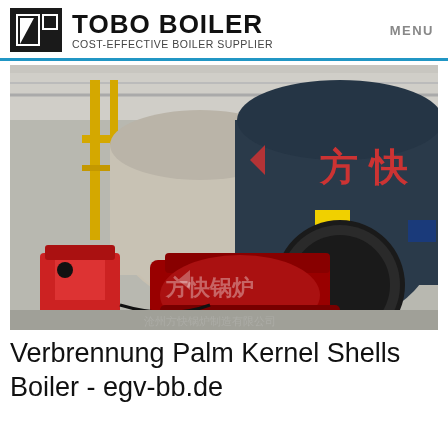TOBO BOILER COST-EFFECTIVE BOILER SUPPLIER | MENU
[Figure (photo): Industrial boiler room with multiple large cylindrical boilers. Foreground shows a red burner unit mounted on a large dark blue/grey boiler with Chinese characters (方快锅炉). Background shows additional boilers with yellow pipe infrastructure. Watermark text reads 方快锅炉.]
Verbrennung Palm Kernel Shells Boiler - egv-bb.de